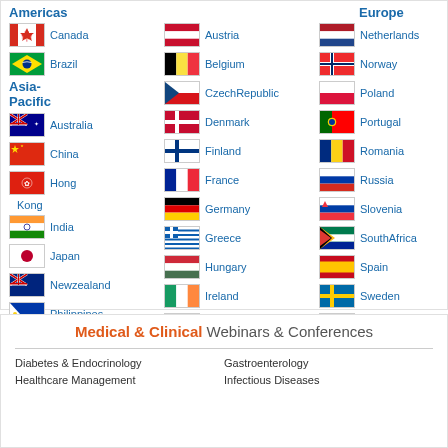Americas
Europe
[Figure (infographic): Grid of country flags with names for Americas, Asia-Pacific, and Europe regions]
Medical & Clinical Webinars & Conferences
Diabetes & Endocrinology
Healthcare Management
Gastroenterology
Infectious Diseases